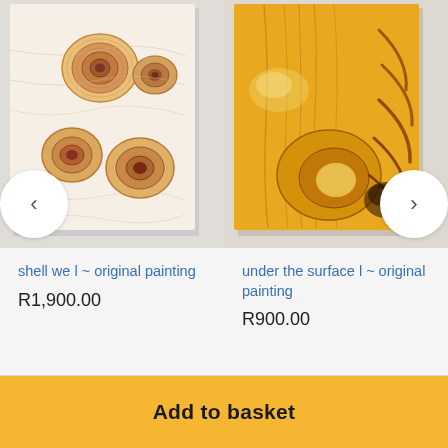[Figure (photo): Painting of abstract shell-like cross sections in warm amber and cream tones on a light background, displayed as a product image card]
shell we l ~ original painting
R1,900.00
[Figure (photo): Painting of abstract wood grain or organic texture in golden amber tones, displayed as a product image card]
under the surface l ~ original painting
R900.00
Add to basket